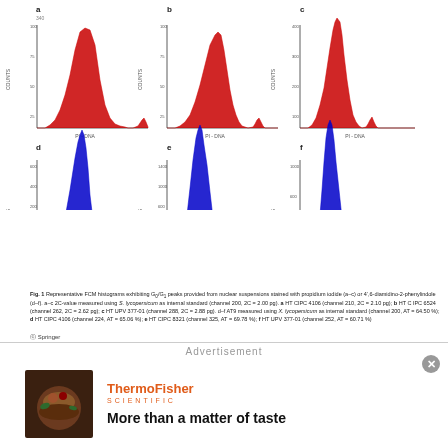[Figure (histogram): Six flow cytometry histograms (a-f) showing G0/G1 peaks. Top row (a-c): red histograms stained with propidium iodide, x-axis PI-DNA. Bottom row (d-f): blue histograms stained with 4',6-diamidino-2-phenylindole, x-axis DAPI-DNA. Each shows two main peaks representing G1 and G2 phases.]
Fig. 1 Representative FCM histograms exhibiting G0/G1 peaks provided from nuclear suspensions stained with propidium iodide (a–c) or 4',6-diamidino-2-phenylindole (d–f). a–c 2C-value measured using S. lycopersicum as internal standard (channel 200, 2C = 2.00 pg). a HT CIPC 4106 (channel 210, 2C = 2.10 pg); b HT C IPC 6524 (channel 262, 2C = 2.62 pg); c HT UPV 377-01 (channel 288, 2C = 2.88 pg). d–f AT9 measured using X. lycopersicum as internal standard (channel 200, AT = 64.50 %); d HT CIPC 4106 (channel 224, AT = 65.06 %); e HT CIPC 8321 (channel 325, AT = 69.78 %); f HT UPV 377-01 (channel 252, AT = 60.71 %)
Springer
Advertisement
[Figure (logo): Thermo Fisher Scientific logo]
More than a matter of taste